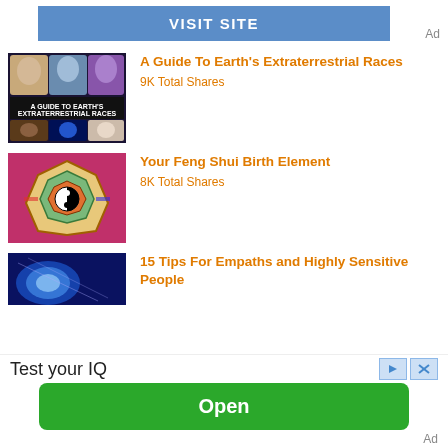[Figure (screenshot): Blue 'VISIT SITE' button banner ad with 'Ad' label]
[Figure (illustration): Thumbnail for 'A Guide To Earth's Extraterrestrial Races' showing alien faces]
A Guide To Earth's Extraterrestrial Races
9K Total Shares
[Figure (illustration): Thumbnail for 'Your Feng Shui Birth Element' showing a Feng Shui bagua map on pink background]
Your Feng Shui Birth Element
8K Total Shares
[Figure (illustration): Partial thumbnail for '15 Tips For Empaths and Highly Sensitive People' showing a blue earth-like image]
15 Tips For Empaths and Highly Sensitive People
[Figure (screenshot): Bottom ad: 'Test your IQ' with green 'Open' button and 'Ad' label]